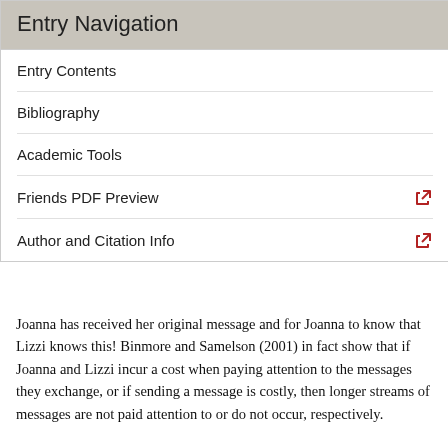Entry Navigation
Entry Contents
Bibliography
Academic Tools
Friends PDF Preview
Author and Citation Info
Joanna has received her original message and for Joanna to know that Lizzi knows this! Binmore and Samelson (2001) in fact show that if Joanna and Lizzi incur a cost when paying attention to the messages they exchange, or if sending a message is costly, then longer streams of messages are not paid attention to or do not occur, respectively.
5.2 Common p-Belief
The example in Section 5.1 hints that mutual knowledge is not the only weakening of common knowledge that is